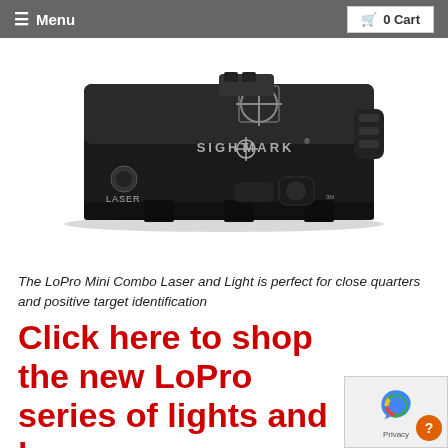≡ Menu | 🛒 0 Cart
[Figure (photo): Sightmark LoPro Mini Combo Laser and Light device, black aluminum body, top view showing SIGHTMARK logo with crosshair symbol, LASER label on front button, adjustment knobs on top and side]
The LoPro Mini Combo Laser and Light is perfect for close quarters and positive target identification
Click here to shop the new LoPro series of lights and lasers